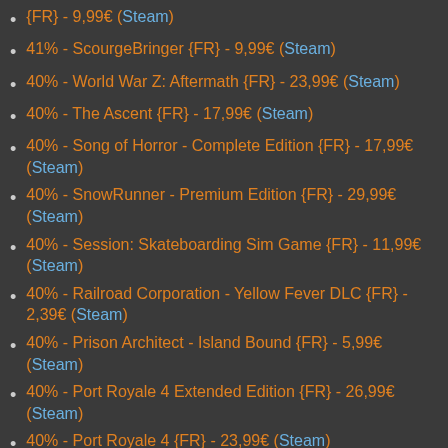{FR} - 9,99€ (Steam)
41% - ScourgeBringer {FR} - 9,99€ (Steam)
40% - World War Z: Aftermath {FR} - 23,99€ (Steam)
40% - The Ascent {FR} - 17,99€ (Steam)
40% - Song of Horror - Complete Edition {FR} - 17,99€ (Steam)
40% - SnowRunner - Premium Edition {FR} - 29,99€ (Steam)
40% - Session: Skateboarding Sim Game {FR} - 11,99€ (Steam)
40% - Railroad Corporation - Yellow Fever DLC {FR} - 2,39€ (Steam)
40% - Prison Architect - Island Bound {FR} - 5,99€ (Steam)
40% - Port Royale 4 Extended Edition {FR} - 26,99€ (Steam)
40% - Port Royale 4 {FR} - 23,99€ (Steam)
40% - Little Big Workshop {FR} - 11,99€ (Steam)